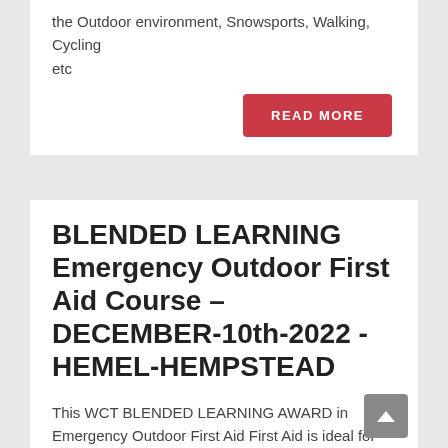the Outdoor environment, Snowsports, Walking, Cycling etc
READ MORE
BLENDED LEARNING Emergency Outdoor First Aid Course – DECEMBER-10th-2022 -HEMEL-HEMPSTEAD
This WCT BLENDED LEARNING AWARD in Emergency Outdoor First Aid First Aid is ideal for those working in the Outdoor environment, Snowsports, Walking, Cycling